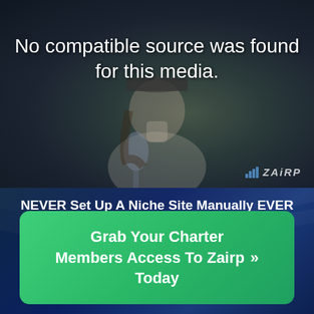[Figure (photo): Darkened video thumbnail showing a man wearing a cap and glasses sitting in front of a microphone in what appears to be a home studio setup. The video player shows a 'No compatible source was found for this media.' error message overlaid on the image. A ZAIRP logo is visible in the bottom right corner of the video.]
No compatible source was found for this media.
NEVER Set Up A Niche Site Manually EVER AGAIN! Automate Your ENTIRE Ranking Process Below
Grab Your Charter Members Access To Zairp Today >>